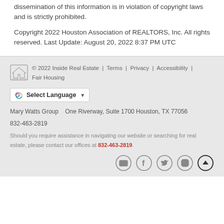dissemination of this information is in violation of copyright laws and is strictly prohibited.
Copyright 2022 Houston Association of REALTORS, Inc. All rights reserved. Last Update: August 20, 2022 8:37 PM UTC
© 2022 Inside Real Estate | Terms | Privacy | Accessibility | Fair Housing
Select Language
Mary Watts Group   One Riverway, Suite 1700 Houston, TX 77056
832-463-2819
Should you require assistance in navigating our website or searching for real estate, please contact our offices at 832-463-2819